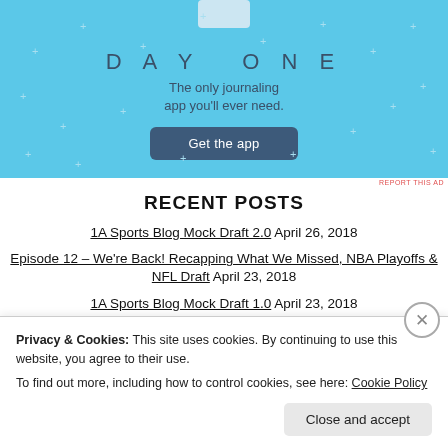[Figure (illustration): DAY ONE app advertisement banner with light blue background, stars/sparkles, app icon at top, 'DAY ONE' text in spaced letters, tagline 'The only journaling app you'll ever need.', and a dark blue 'Get the app' button]
REPORT THIS AD
RECENT POSTS
1A Sports Blog Mock Draft 2.0 April 26, 2018
Episode 12 – We're Back! Recapping What We Missed, NBA Playoffs & NFL Draft April 23, 2018
1A Sports Blog Mock Draft 1.0 April 23, 2018
10 Thoughts on Game 1 Weekend April 16, 2018
Privacy & Cookies: This site uses cookies. By continuing to use this website, you agree to their use.
To find out more, including how to control cookies, see here: Cookie Policy
Close and accept